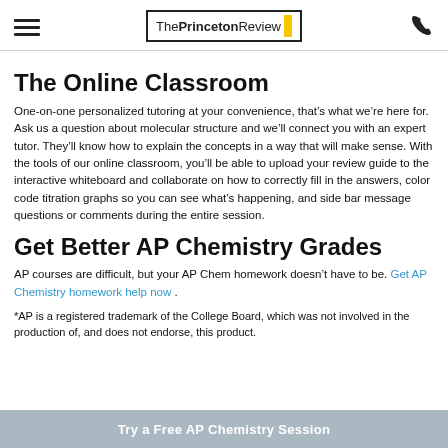The Princeton Review
The Online Classroom
One-on-one personalized tutoring at your convenience, that’s what we’re here for. Ask us a question about molecular structure and we’ll connect you with an expert tutor. They’ll know how to explain the concepts in a way that will make sense. With the tools of our online classroom, you’ll be able to upload your review guide to the interactive whiteboard and collaborate on how to correctly fill in the answers, color code titration graphs so you can see what’s happening, and side bar message questions or comments during the entire session.
Get Better AP Chemistry Grades
AP courses are difficult, but your AP Chem homework doesn’t have to be. Get AP Chemistry homework help now .
*AP is a registered trademark of the College Board, which was not involved in the production of, and does not endorse, this product.
Try a Free AP Chemistry Session